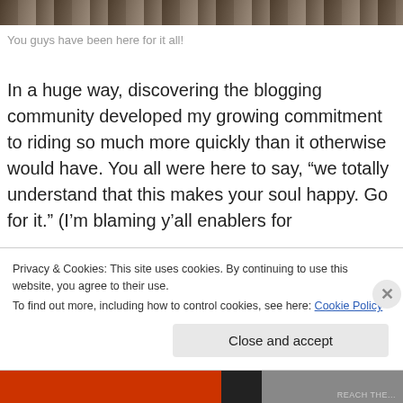[Figure (photo): Partial view of a wooden or stone structure, cropped at the top of the page]
You guys have been here for it all!
In a huge way, discovering the blogging community developed my growing commitment to riding so much more quickly than it otherwise would have. You all were here to say, “we totally understand that this makes your soul happy. Go for it.” (I’m blaming y’all enablers for
Privacy & Cookies: This site uses cookies. By continuing to use this website, you agree to their use.
To find out more, including how to control cookies, see here: Cookie Policy
Close and accept